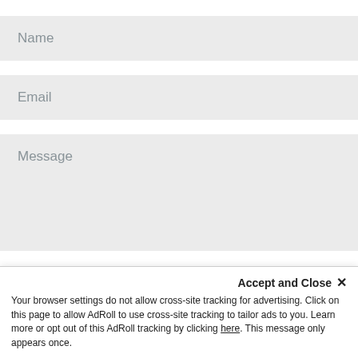Name
Email
Message
SUBMIT
Accept and Close ×
Your browser settings do not allow cross-site tracking for advertising. Click on this page to allow AdRoll to use cross-site tracking to tailor ads to you. Learn more or opt out of this AdRoll tracking by clicking here. This message only appears once.